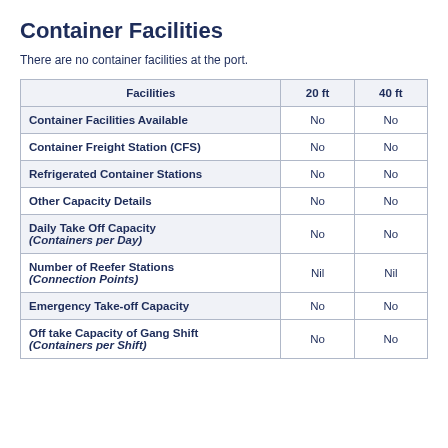Container Facilities
There are no container facilities at the port.
| Facilities | 20 ft | 40 ft |
| --- | --- | --- |
| Container Facilities Available | No | No |
| Container Freight Station (CFS) | No | No |
| Refrigerated Container Stations | No | No |
| Other Capacity Details | No | No |
| Daily Take Off Capacity (Containers per Day) | No | No |
| Number of Reefer Stations (Connection Points) | Nil | Nil |
| Emergency Take-off Capacity | No | No |
| Off take Capacity of Gang Shift (Containers per Shift) | No | No |